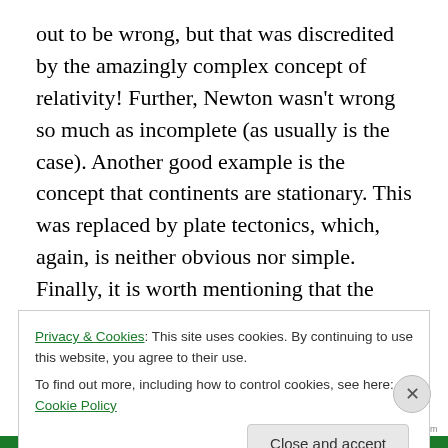out to be wrong, but that was discredited by the amazingly complex concept of relativity! Further, Newton wasn't wrong so much as incomplete (as usually is the case). Another good example is the concept that continents are stationary. This was replaced by plate tectonics, which, again, is neither obvious nor simple. Finally, it is worth mentioning that the days of a lone maverick operating outside of the norms of science are long gone. Modern science is an incredibly collaborative process, and new paradigm-altering conclusions come from teams of scientists with years of research, not someone sitting on
Privacy & Cookies: This site uses cookies. By continuing to use this website, you agree to their use.
To find out more, including how to control cookies, see here: Cookie Policy